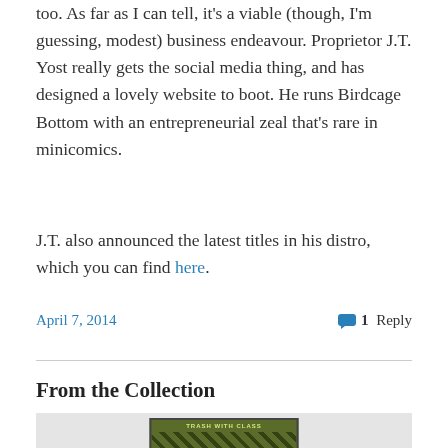too. As far as I can tell, it's a viable (though, I'm guessing, modest) business endeavour. Proprietor J.T. Yost really gets the social media thing, and has designed a lovely website to boot. He runs Birdcage Bottom with an entrepreneurial zeal that's rare in minicomics.
J.T. also announced the latest titles in his distro, which you can find here.
April 7, 2014    1 Reply
From the Collection
[Figure (photo): Comic book cover showing 'Trash with Class' title text in green/yellow on a dark green background with illustrated artwork]